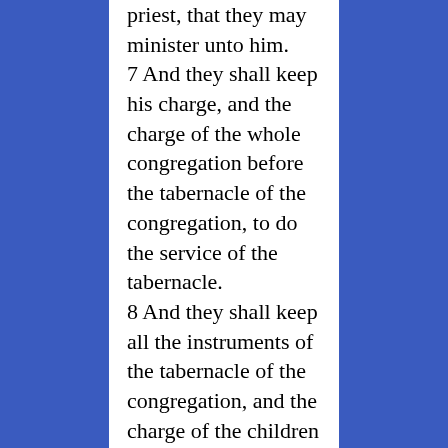priest, that they may minister unto him. 7 And they shall keep his charge, and the charge of the whole congregation before the tabernacle of the congregation, to do the service of the tabernacle. 8 And they shall keep all the instruments of the tabernacle of the congregation, and the charge of the children of Israel, to do the service of the tabernacle. 9 And thou shalt give the Levites unto Aaron and to his sons: they are wholly given unto him out of the